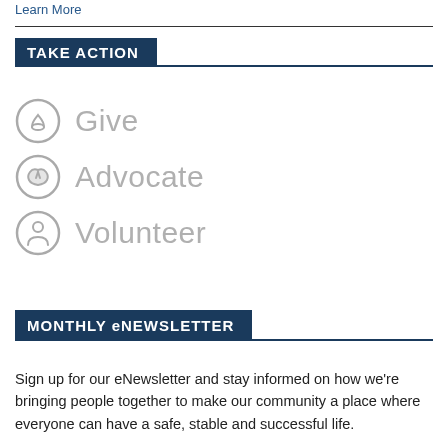Learn More
TAKE ACTION
Give
Advocate
Volunteer
MONTHLY eNEWSLETTER
Sign up for our eNewsletter and stay informed on how we're bringing people together to make our community a place where everyone can have a safe, stable and successful life.